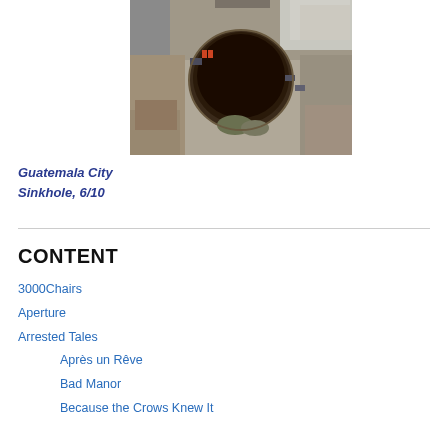[Figure (photo): Aerial view of the Guatemala City Sinkhole, a large circular sinkhole in the middle of an urban neighborhood, surrounded by buildings and streets.]
Guatemala City Sinkhole, 6/10
CONTENT
3000Chairs
Aperture
Arrested Tales
Après un Rêve
Bad Manor
Because the Crows Knew It